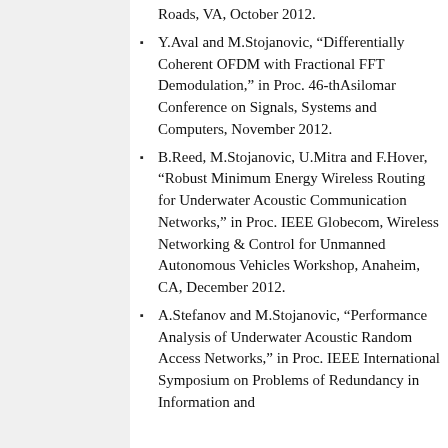Roads, VA, October 2012.
Y.Aval and M.Stojanovic, “Differentially Coherent OFDM with Fractional FFT Demodulation,” in Proc. 46-thAsilomar Conference on Signals, Systems and Computers, November 2012.
B.Reed, M.Stojanovic, U.Mitra and F.Hover, “Robust Minimum Energy Wireless Routing for Underwater Acoustic Communication Networks,” in Proc. IEEE Globecom, Wireless Networking & Control for Unmanned Autonomous Vehicles Workshop, Anaheim, CA, December 2012.
A.Stefanov and M.Stojanovic, “Performance Analysis of Underwater Acoustic Random Access Networks,” in Proc. IEEE International Symposium on Problems of Redundancy in Information and